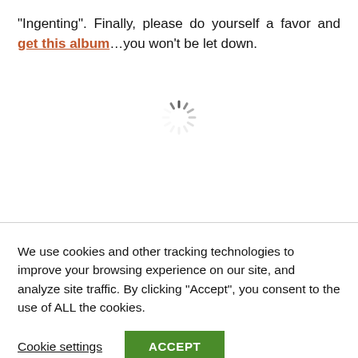“Ingenting”. Finally, please do yourself a favor and get this album…you won’t be let down.
[Figure (other): Loading spinner icon (circular dashed spinner in gray)]
We use cookies and other tracking technologies to improve your browsing experience on our site, and analyze site traffic. By clicking “Accept”, you consent to the use of ALL the cookies.
Cookie settings   ACCEPT